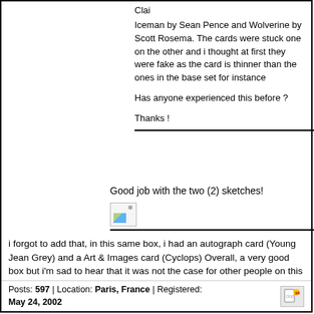Clai
Iceman by Sean Pence and Wolverine by Scott Rosema. The cards were stuck one on the other and i thought at first they were fake as the card is thinner than the ones in the base set for instance

Has anyone experienced this before ?

Thanks !
Good job with the two (2) sketches!
[Figure (photo): Broken/missing image placeholder with document icon]
i forgot to add that, in this same box, i had an autograph card (Young Jean Grey) and a Art & Images card (Cyclops) Overall, a very good box but i'm sad to hear that it was not the case for other people on this board Fro
Posts: 597 | Location: Paris, France | Registered: May 24, 2002